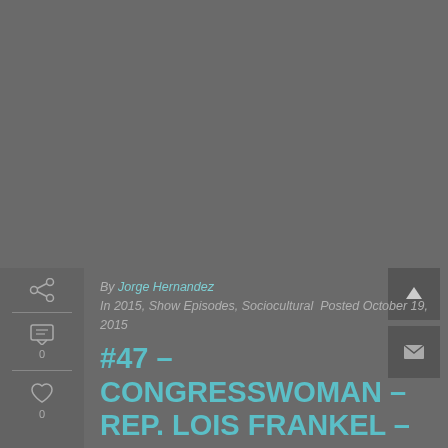[Figure (photo): Dark gray background image area occupying the top portion of the page]
By Jorge Hernandez
In 2015, Show Episodes, Sociocultural  Posted October 19, 2015
#47 – CONGRESSWOMAN – REP. LOIS FRANKEL – 2015-10-19